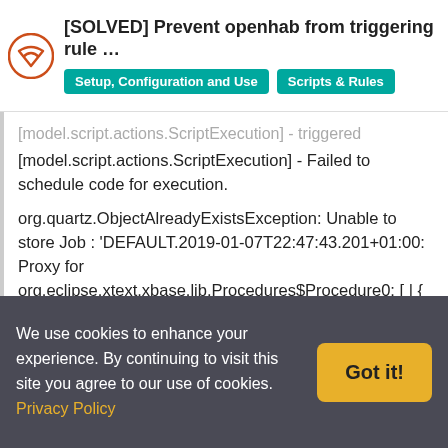[SOLVED] Prevent openhab from triggering rule ... | Setup, Configuration and Use | Scripts & Rules
[model.script.actions.ScriptExecution] - Failed to schedule code for execution.

org.quartz.ObjectAlreadyExistsException: Unable to store Job : 'DEFAULT.2019-01-07T22:47:43.201+01:00: Proxy for org.eclipse.xtext.xbase.lib.Procedures$Procedure0: [ | {

logInfo(,)

org.eclipse.xtext.xbase.impl.XIfExpressionImpl@1108998

.changeTimer =

} ]', because one already exists with this identification.

at
org.quartz.simpl.RAMJobStore.storeJob(RAMJobStore.java:279) ~[?:?]
We use cookies to enhance your experience. By continuing to visit this site you agree to our use of cookies. Privacy Policy